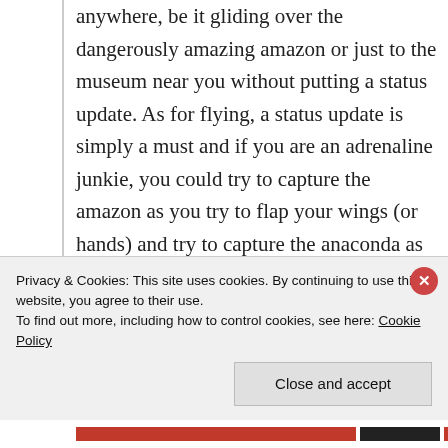anywhere, be it gliding over the dangerously amazing amazon or just to the museum near you without putting a status update. As for flying, a status update is simply a must and if you are an adrenaline junkie, you could try to capture the amazon as you try to flap your wings (or hands) and try to capture the anaconda as you swoop down the forest's thick foliage, not sure if you would survive that one but you are sure to
Privacy & Cookies: This site uses cookies. By continuing to use this website, you agree to their use.
To find out more, including how to control cookies, see here: Cookie Policy
Close and accept